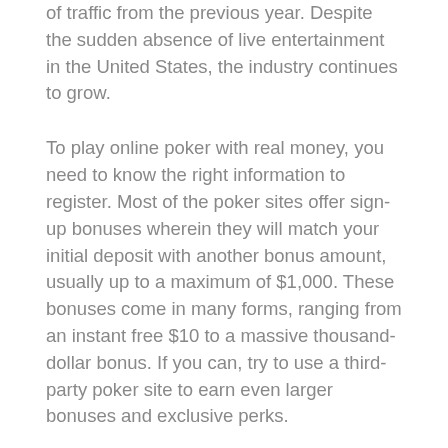of traffic from the previous year. Despite the sudden absence of live entertainment in the United States, the industry continues to grow.
To play online poker with real money, you need to know the right information to register. Most of the poker sites offer sign-up bonuses wherein they will match your initial deposit with another bonus amount, usually up to a maximum of $1,000. These bonuses come in many forms, ranging from an instant free $10 to a massive thousand-dollar bonus. If you can, try to use a third-party poker site to earn even larger bonuses and exclusive perks.
Once you have found an online poker site that suits your preferences and financial situation, you must register for an account with the site. Generally, there are a few poker operators in states that have legalized online poker. Choose the one that matches your criteria and proceed with the